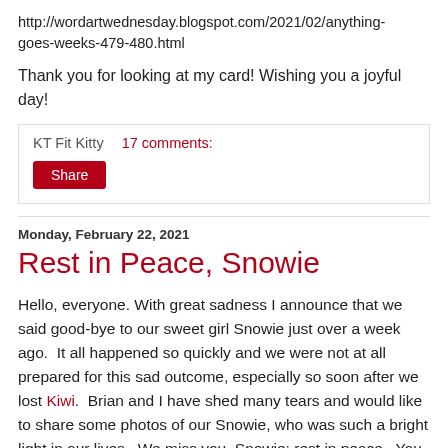http://wordartwednesday.blogspot.com/2021/02/anything-goes-weeks-479-480.html
Thank you for looking at my card! Wishing you a joyful day!
KT Fit Kitty    17 comments:
Share
Monday, February 22, 2021
Rest in Peace, Snowie
Hello, everyone. With great sadness I announce that we said good-bye to our sweet girl Snowie just over a week ago.  It all happened so quickly and we were not at all prepared for this sad outcome, especially so soon after we lost Kiwi.  Brian and I have shed many tears and would like to share some photos of our Snowie, who was such a bright light in our lives.  We miss you, Snowie; rest in peace.  You are forever in our hearts.